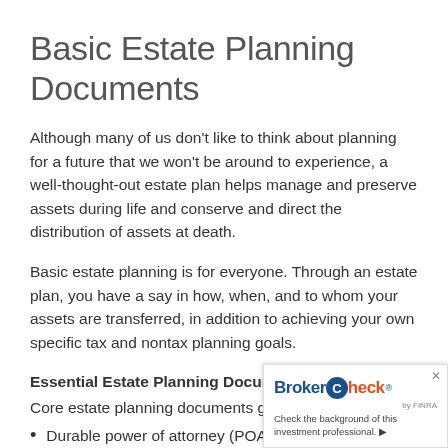Basic Estate Planning Documents
Although many of us don’t like to think about planning for a future that we won’t be around to experience, a well-thought-out estate plan helps manage and preserve assets during life and conserve and direct the distribution of assets at death.
Basic estate planning is for everyone. Through an estate plan, you have a say in how, when, and to whom your assets are transferred, in addition to achieving your own specific tax and nontax planning goals.
Essential Estate Planning Documents
Core estate planning documents generally inclu…
Durable power of attorney (POA) for financi…